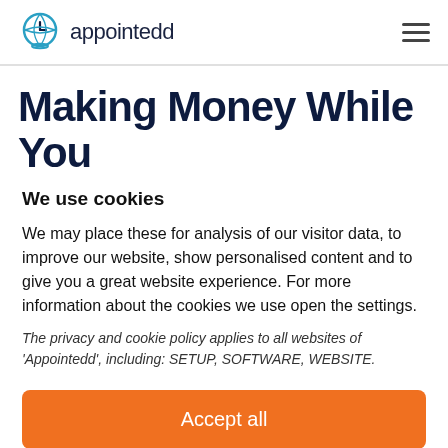appointedd
Making Money While You Sleep
We use cookies
We may place these for analysis of our visitor data, to improve our website, show personalised content and to give you a great website experience. For more information about the cookies we use open the settings.
The privacy and cookie policy applies to all websites of 'Appointedd', including: SETUP, SOFTWARE, WEBSITE.
Accept all
No, adjust